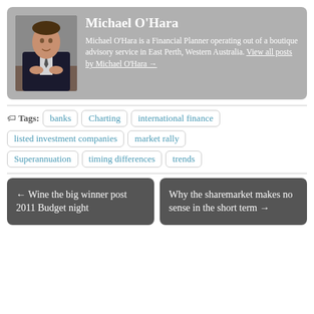[Figure (photo): Headshot photo of Michael O'Hara, a man in a dark suit sitting at a table]
Michael O'Hara
Michael O'Hara is a Financial Planner operating out of a boutique advisory service in East Perth, Western Australia. View all posts by Michael O'Hara →
Tags: banks | Charting | international finance | listed investment companies | market rally | Superannuation | timing differences | trends
← Wine the big winner post 2011 Budget night
Why the sharemarket makes no sense in the short term →